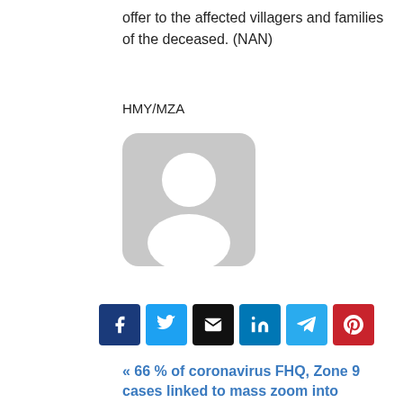offer to the affected villagers and families of the deceased. (NAN)
HMY/MZA
[Figure (illustration): Default user avatar placeholder image — grey rounded square with white silhouette of a person (head and shoulders)]
Source link
[Figure (infographic): Row of social share buttons: Facebook (dark blue), Twitter (light blue), Email (black), LinkedIn (blue), Telegram (light blue), Pinterest (red)]
« 66 % of coronavirus FHQ, Zone 9 cases linked to mass zoom into